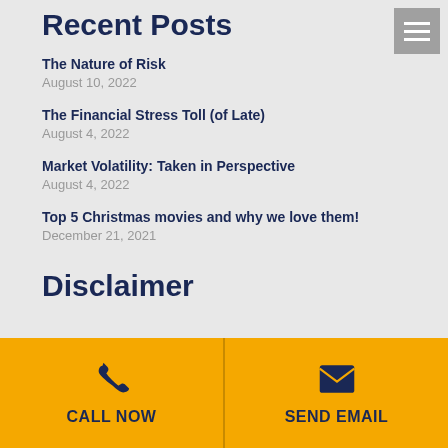Recent Posts
The Nature of Risk
August 10, 2022
The Financial Stress Toll (of Late)
August 4, 2022
Market Volatility: Taken in Perspective
August 4, 2022
Top 5 Christmas movies and why we love them!
December 21, 2021
Disclaimer
CALL NOW
SEND EMAIL